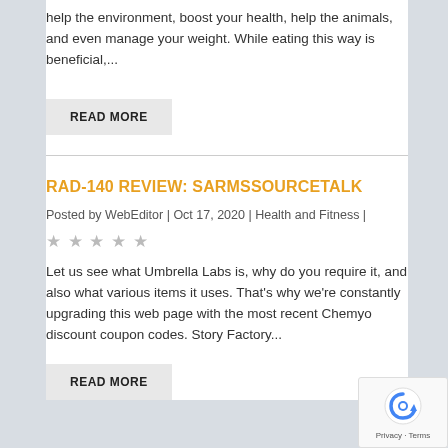help the environment, boost your health, help the animals, and even manage your weight. While eating this way is beneficial,...
READ MORE
RAD-140 REVIEW: SARMSSOURCETALK
Posted by WebEditor | Oct 17, 2020 | Health and Fitness |
★★★★★
Let us see what Umbrella Labs is, why do you require it, and also what various items it uses. That's why we're constantly upgrading this web page with the most recent Chemyo discount coupon codes. Story Factory...
READ MORE